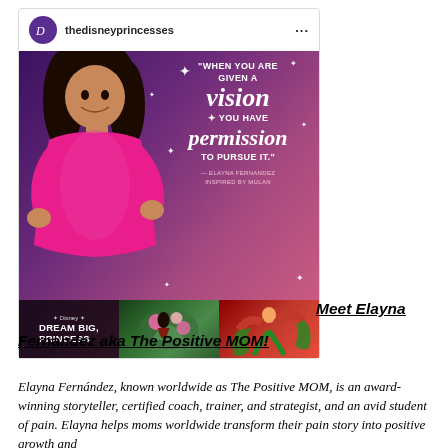[Figure (screenshot): Instagram post from @thedisneyprinces showing Elayna Fernandez (The Positive MOM) in a pink dress against a purple background with the quote: 'When you are given a vision you have permission to pursue it.' — Elayna Fernandez, Inspired by Mulan. Dream Big, Princess branding with Mulan imagery at bottom.]
Meet Elayna Fernandez aka The Positive MOM!
Elayna Fernández, known worldwide as The Positive MOM, is an award-winning storyteller, certified coach, trainer, and strategist, and an avid student of pain. Elayna helps moms worldwide transform their pain story into positive growth and